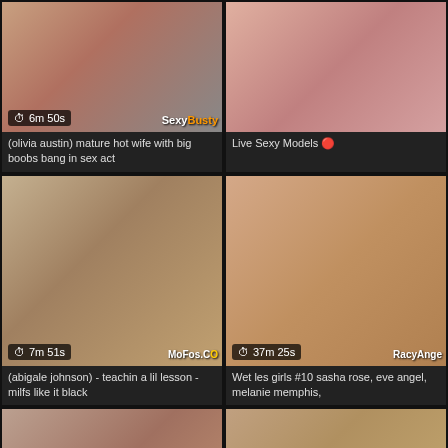[Figure (screenshot): Video thumbnail grid item 1 - mature blonde woman]
(olivia austin) mature hot wife with big boobs bang in sex act
[Figure (screenshot): Video thumbnail grid item 2 - Live Sexy Models]
Live Sexy Models 🔴
[Figure (screenshot): Video thumbnail grid item 3 - blonde woman, MoFos watermark, 7m 51s]
(abigale johnson) - teachin a lil lesson - milfs like it black
[Figure (screenshot): Video thumbnail grid item 4 - RacyAngel watermark, 37m 25s]
Wet les girls #10 sasha rose, eve angel, melanie memphis,
[Figure (screenshot): Video thumbnail grid item 5 - bottom left, This video was up...]
[Figure (screenshot): Video thumbnail grid item 6 - bottom right, blonde woman]